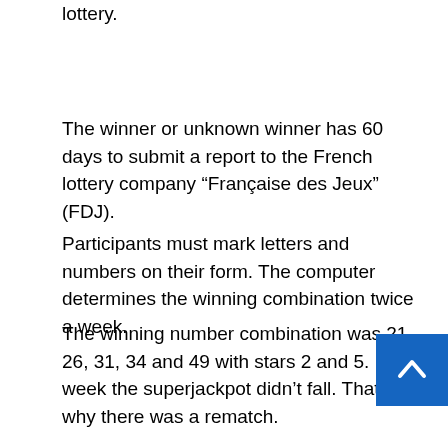lottery.
The winner or unknown winner has 60 days to submit a report to the French lottery company “Française des Jeux” (FDJ).
Participants must mark letters and numbers on their form. The computer determines the winning combination twice a week.
The winning number combination was 21, 26, 31, 34 and 49 with stars 2 and 5. Last week the superjackpot didn’t fall. That’s why there was a rematch.